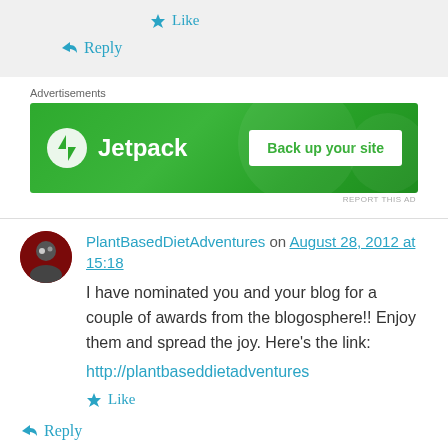Like
Reply
Advertisements
[Figure (screenshot): Jetpack advertisement banner with green background, Jetpack logo on left, 'Back up your site' button on right]
REPORT THIS AD
PlantBasedDietAdventures on August 28, 2012 at 15:18
I have nominated you and your blog for a couple of awards from the blogosphere!! Enjoy them and spread the joy. Here's the link:
http://plantbaseddietadventures
Like
Reply